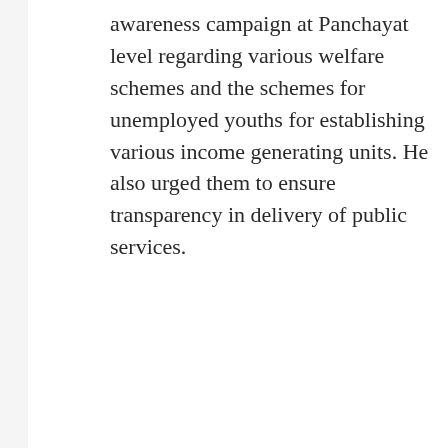awareness campaign at Panchayat level regarding various welfare schemes and the schemes for unemployed youths for establishing various income generating units. He also urged them to ensure transparency in delivery of public services.